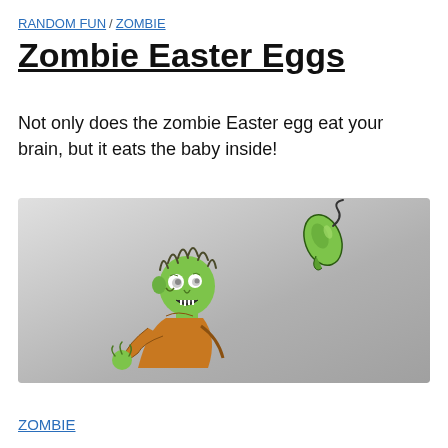RANDOM FUN / ZOMBIE
Zombie Easter Eggs
Not only does the zombie Easter egg eat your brain, but it eats the baby inside!
[Figure (illustration): Cartoon illustration of a zombie (Frankenstein-like figure with green skin, orange shirt) looking upward at a green Easter egg with a small curly tail/fuse, set against a gray gradient background.]
ZOMBIE